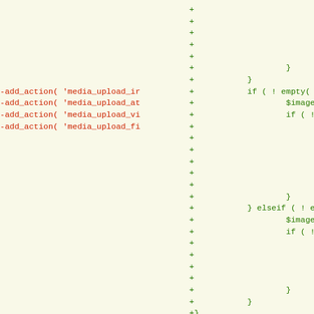Code diff showing removed lines (red) with add_action and add_filter calls, and added lines (green) with PHP code including if/elseif blocks, $image = rese assignments, $meta assignments, break statements, closing braces, and a new /** comment block.